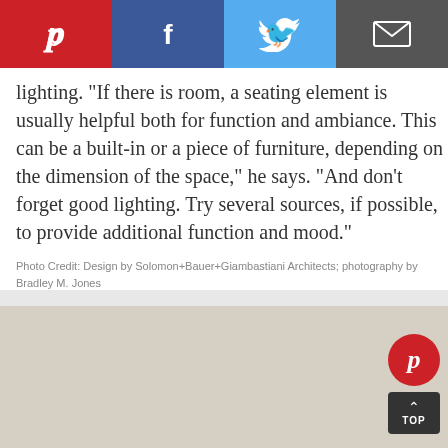[Figure (infographic): Social sharing bar with four buttons: Pinterest (red), Facebook (dark blue), Twitter (light blue), Email/envelope (dark gray)]
lighting. "If there is room, a seating element is usually helpful both for function and ambiance. This can be a built-in or a piece of furniture, depending on the dimension of the space," he says. "And don't forget good lighting. Try several sources, if possible, to provide additional function and mood."
Photo Credit: Design by Solomon+Bauer+Giambastiani Architects; photography by Bradley M. Jones
[Figure (photo): Interior room photo showing white built-in cabinets and shelving unit, a window with natural light, cream/beige walls, with colorful items stored in the lower cubbies. A red Pinterest save button and a dark TOP scroll button overlay the photo.]